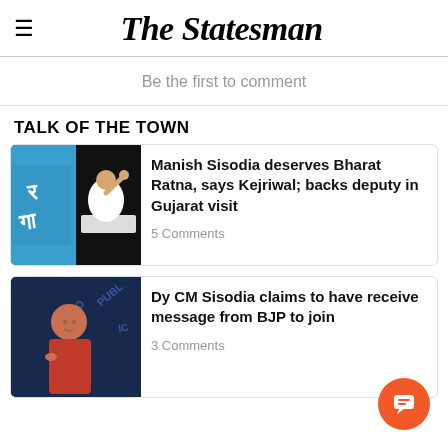The Statesman
Be the first to comment
TALK OF THE TOWN
[Figure (photo): Photo of a man in white shirt speaking at a podium with raised fist, blue background with Hindi text]
Manish Sisodia deserves Bharat Ratna, says Kejriwal; backs deputy in Gujarat visit
5 Comments
[Figure (photo): Photo of Manish Sisodia in red shirt speaking at a press conference, dark blue background with ND PUBLIC text]
Dy CM Sisodia claims to have receive message from BJP to join
3 Comments